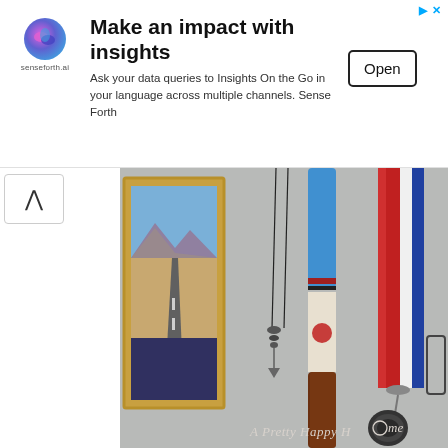[Figure (infographic): Advertisement banner for senseforth.ai with logo, headline 'Make an impact with insights', body text 'Ask your data queries to Insights On the Go in your language across multiple channels. Sense Forth', and an 'Open' button.]
[Figure (photo): Photo showing items hanging on a gray wall: a framed landscape photo in a gold frame on the left, two thin dark necklaces hanging in the center-left, a hockey stick or bat with blue/white/brown coloring in the center, and red/white/blue ribbon lanyards with a dark medal on the right. Watermark reads 'A Pretty Happy Home'.]